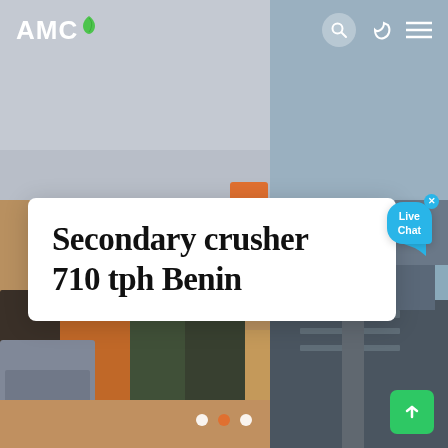[Figure (photo): Website screenshot showing AMC company page with background photos of construction site workers and heavy machinery, with a title card overlay reading 'Secondary crusher 710 tph Benin'. Navigation bar at top with AMC logo and icons. Live Chat bubble visible. Slideshow navigation dots at bottom.]
AMC
Secondary crusher 710 tph Benin